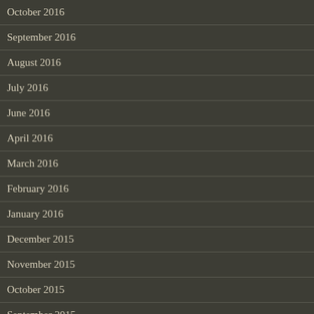October 2016
September 2016
August 2016
July 2016
June 2016
April 2016
March 2016
February 2016
January 2016
December 2015
November 2015
October 2015
September 2015